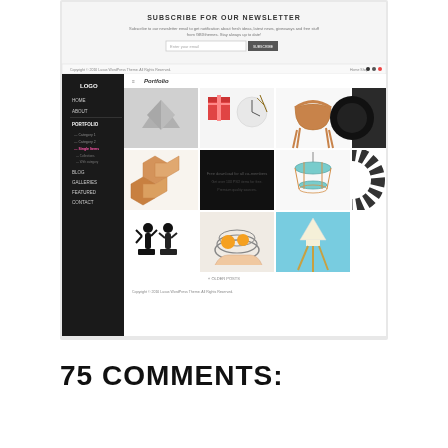[Figure (screenshot): Screenshot of a WordPress theme demo website showing a portfolio grid layout. The top section shows a newsletter subscription area with 'SUBSCRIBE FOR OUR NEWSLETTER' heading, email input field and subscribe button. Below is a dark-sidebar portfolio page with a masonry/grid of product images including origami chairs, gift boxes, wooden chairs, hexagon wood tiles, pendant lamps, black figurines, hands holding oranges in a wire spiral, and table lamps. A footer with copyright info is visible at the bottom of the inner screenshot.]
75 COMMENTS: